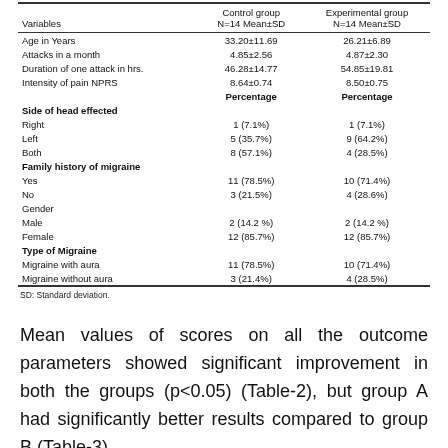| Variables | Control group N=14 Mean±SD | Experimental group N=14 Mean±SD |
| --- | --- | --- |
| Age in Years | 33.20±11.69 | 26.21±6.89 |
| Attacks in a month | 4.85±2.56 | 4.87±2.30 |
| Duration of one attack in hrs. | 46.28±14.77 | 54.85±19.81 |
| Intensity of pain NPRS | 8.64±0.74 | 8.50±0.75 |
|  | Percentage | Percentage |
| Side of head effected |  |  |
| Right | 1 (7.1%) | 1 (7.1%) |
| Left | 5 (35.7%) | 9 (64.2%) |
| Both | 8 (57.1%) | 4 (28.5%) |
| Family history of migraine |  |  |
| Yes | 11 (78.5%) | 10 (71.4%) |
| No | 3 (21.5%) | 4 (28.6%) |
| Gender |  |  |
| Male | 2 (14.2 %) | 2 (14.2 %) |
| Female | 12 (85.7%) | 12 (85.7%) |
| Type of Migraine |  |  |
| Migraine with aura | 11 (78.5%) | 10 (71.4%) |
| Migraine without aura | 3 (21.4%) | 4 (28.5%) |
SD: Standard deviation.
Mean values of scores on all the outcome parameters showed significant improvement in both the groups (p<0.05) (Table-2), but group A had significantly better results compared to group B (Table-3).